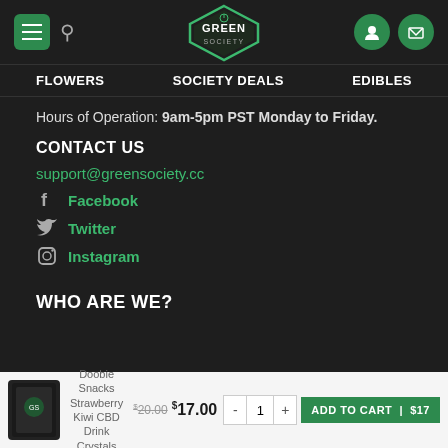[Figure (logo): Green Society hexagon logo with cannabis leaf]
FLOWERS  SOCIETY DEALS  EDIBLES
Hours of Operation: 9am-5pm PST Monday to Friday.
CONTACT US
support@greensociety.cc
Facebook
Twitter
Instagram
WHO ARE WE?
Doobie Snacks Strawberry Kiwi CBD Drink Crystals  $20.00  $17.00  ADD TO CART | $17